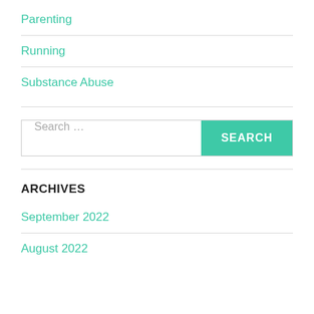Parenting
Running
Substance Abuse
Search ...
ARCHIVES
September 2022
August 2022